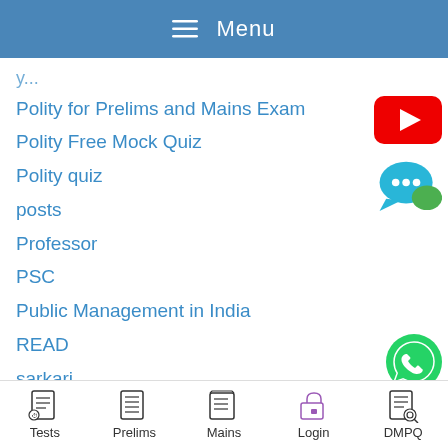Menu
(partially visible category)
Polity for Prelims and Mains Exam
Polity Free Mock Quiz
Polity quiz
posts
Professor
PSC
Public Management in India
READ
sarkari
Sarkari Naukri
SCIENCE
Tests | Prelims | Mains | Login | DMPQ